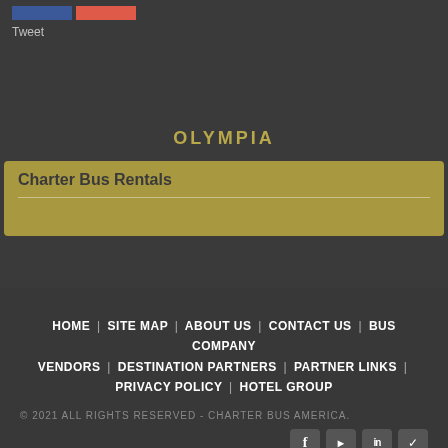[Figure (screenshot): Social share buttons (blue Facebook and red/orange share button) at top of page]
Tweet
OLYMPIA
Charter Bus Rentals
HOME | SITE MAP | ABOUT US | CONTACT US | BUS COMPANY VENDORS | DESTINATION PARTNERS | PARTNER LINKS | PRIVACY POLICY | HOTEL GROUP
© 2021 ALL RIGHTS RESERVED - CHARTER BUS AMERICA.